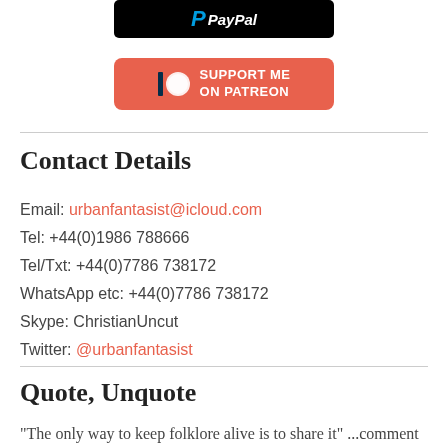[Figure (logo): PayPal logo button — black rounded rectangle with PayPal wordmark in blue and white]
[Figure (logo): Patreon support button — orange rounded rectangle with Patreon circle logo and text SUPPORT ME ON PATREON in white]
Contact Details
Email: urbanfantasist@icloud.com
Tel: +44(0)1986 788666
Tel/Txt: +44(0)7786 738172
WhatsApp etc: +44(0)7786 738172
Skype: ChristianUncut
Twitter: @urbanfantasist
Quote, Unquote
"The only way to keep folklore alive is to share it" ...comment from viewer on